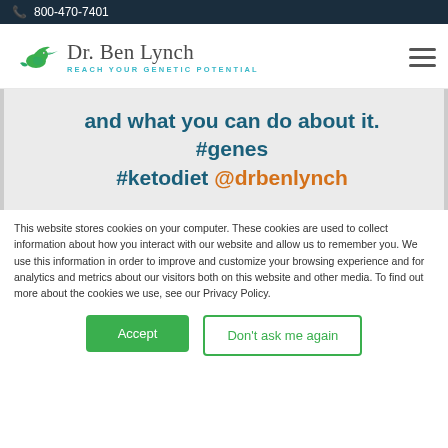800-470-7401
[Figure (logo): Dr. Ben Lynch hummingbird logo with text 'Dr. Ben Lynch' and tagline 'REACH YOUR GENETIC POTENTIAL']
and what you can do about it. #genes #ketodiet @drbenlynch
This website stores cookies on your computer. These cookies are used to collect information about how you interact with our website and allow us to remember you. We use this information in order to improve and customize your browsing experience and for analytics and metrics about our visitors both on this website and other media. To find out more about the cookies we use, see our Privacy Policy.
Accept
Don't ask me again